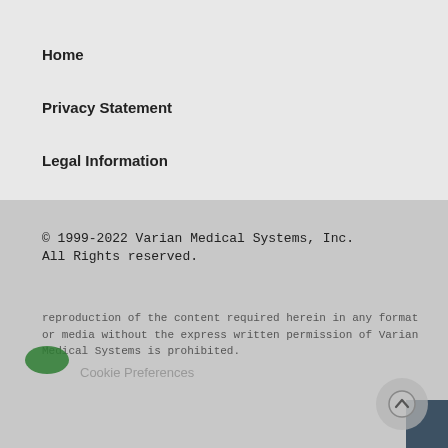Home
Privacy Statement
Legal Information
© 1999-2022 Varian Medical Systems, Inc.  All Rights reserved.
Some functionality on this site requires your consent for cookies to work properly.
I consent to cookies
Cookie Preferences
I want more information
Feedback